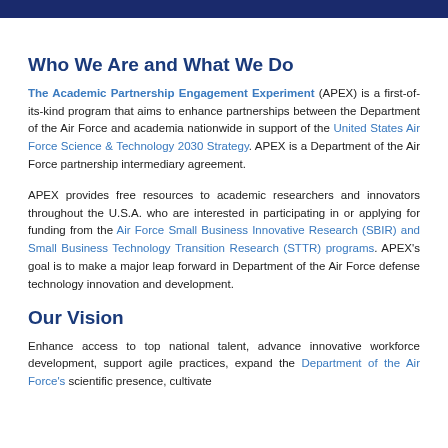Who We Are and What We Do
The Academic Partnership Engagement Experiment (APEX) is a first-of-its-kind program that aims to enhance partnerships between the Department of the Air Force and academia nationwide in support of the United States Air Force Science & Technology 2030 Strategy. APEX is a Department of the Air Force partnership intermediary agreement.
APEX provides free resources to academic researchers and innovators throughout the U.S.A. who are interested in participating in or applying for funding from the Air Force Small Business Innovative Research (SBIR) and Small Business Technology Transition Research (STTR) programs. APEX's goal is to make a major leap forward in Department of the Air Force defense technology innovation and development.
Our Vision
Enhance access to top national talent, advance innovative workforce development, support agile practices, expand the Department of the Air Force's scientific presence, cultivate